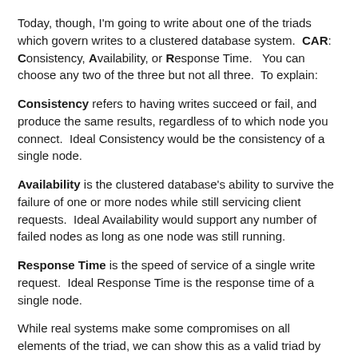Today, though, I'm going to write about one of the triads which govern writes to a clustered database system. CAR: Consistency, Availability, or Response Time. You can choose any two of the three but not all three. To explain:
Consistency refers to having writes succeed or fail, and produce the same results, regardless of to which node you connect. Ideal Consistency would be the consistency of a single node.
Availability is the clustered database's ability to survive the failure of one or more nodes while still servicing client requests. Ideal Availability would support any number of failed nodes as long as one node was still running.
Response Time is the speed of service of a single write request. Ideal Response Time is the response time of a single node.
While real systems make some compromises on all elements of the triad, we can show this as a valid triad by